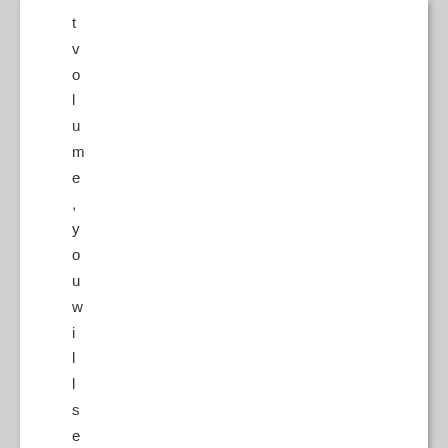t
v
o
l
u
m
e
,
y
o
u
w
i
l
l
s
e
e
J
u
l
i
a
N
a